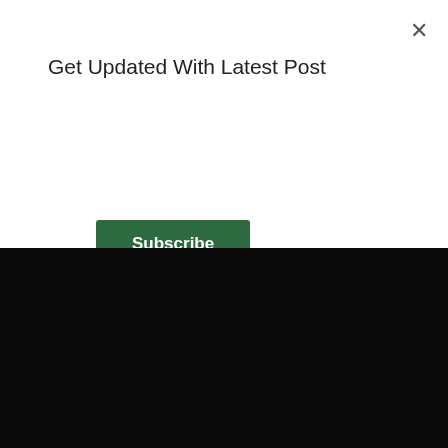×
Get Updated With Latest Post
Subscribe
Pestcide is established with the aim of enabling a pest free environment. We guarantee an affordable, reliable, and satisfactory service.
CONNECT
Nsasak Street, Aka Road, Uyo.
2348121945210